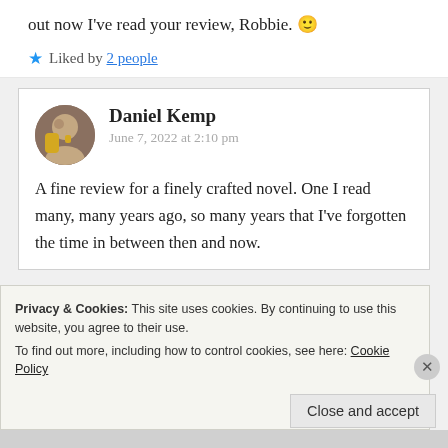out now I've read your review, Robbie. 🙂
★ Liked by 2 people
Daniel Kemp
June 7, 2022 at 2:10 pm
A fine review for a finely crafted novel. One I read many, many years ago, so many years that I've forgotten the time in between then and now.
Privacy & Cookies: This site uses cookies. By continuing to use this website, you agree to their use.
To find out more, including how to control cookies, see here: Cookie Policy
Close and accept